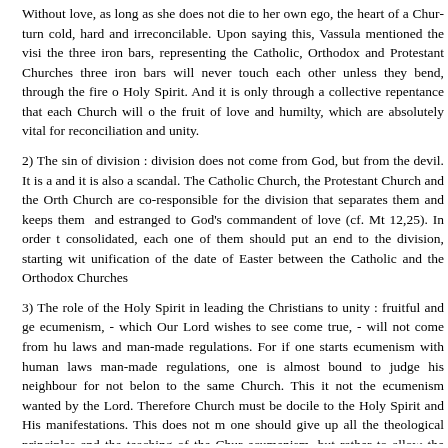Without love, as long as she does not die to her own ego, the heart of a Church will turn cold, hard and irreconcilable. Upon saying this, Vassula mentioned the vision of the three iron bars, representing the Catholic, Orthodox and Protestant Churches. These three iron bars will never touch each other unless they bend, through the fire of the Holy Spirit. And it is only through a collective repentance that each Church will obtain the fruit of love and humilty, which are absolutely vital for reconciliation and unity.
2) The sin of division : division does not come from God, but from the devil. It is a sin and it is also a scandal. The Catholic Church, the Protestant Church and the Orthodox Church are co-responsible for the division that separates them and keeps them divided and estranged to God's commandent of love (cf. Mt 12,25). In order to be consolidated, each one of them should put an end to the division, starting with the unification of the date of Easter between the Catholic and the Orthodox Churches.
3) The role of the Holy Spirit in leading the Christians to unity : fruitful and genuine ecumenism, - which Our Lord wishes to see come true, - will not come from human laws and man-made regulations. For if one starts ecumenism with human laws and man-made regulations, one is almost bound to judge his neighbour for not belonging to the same Church. This it not the ecumenism wanted by the Lord. Therefore each Church must be docile to the Holy Spirit and His manifestations. This does not mean one should give up all the theological principles and the teaching of the Church on ecumenism, but rather to allow the Holy Spirit to make the letters alive and to lead all ecumenical actions towards the unity, which will be in the heart and pleasing to God (cf. Jn 17,21).
Vassula's address on unity was so spiritually, theologically and biblically rich, a